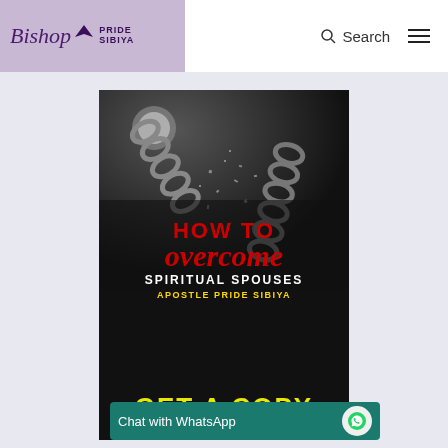Bishop Pride Sibiya | Search | Menu
[Figure (photo): Book cover for 'How to Overcome Spiritual Spouses' by Apostle Pride Sibiya. Dark background with breaking chains graphic. Text shows: HOW TO overcome SPIRITUAL SPOUSES APOSTLE PRIDE SIBIYA. Bottom shows GET A COPY OF THE... in yellow text.]
Chat with WhatsApp